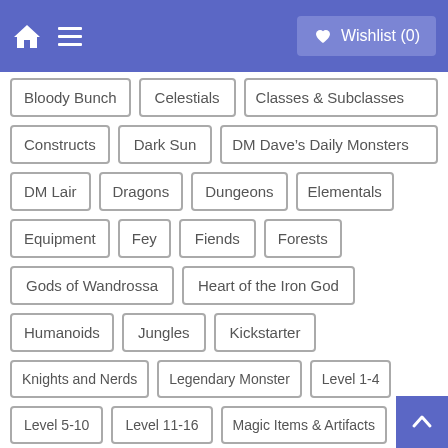Wishlist (0)
Bloody Bunch
Celestials
Classes & Subclasses
Constructs
Dark Sun
DM Dave's Daily Monsters
DM Lair
Dragons
Dungeons
Elementals
Equipment
Fey
Fiends
Forests
Gods of Wandrossa
Heart of the Iron God
Humanoids
Jungles
Kickstarter
Knights and Nerds
Legendary Monster
Level 1-4
Level 5-10
Level 11-16
Magic Items & Artifacts